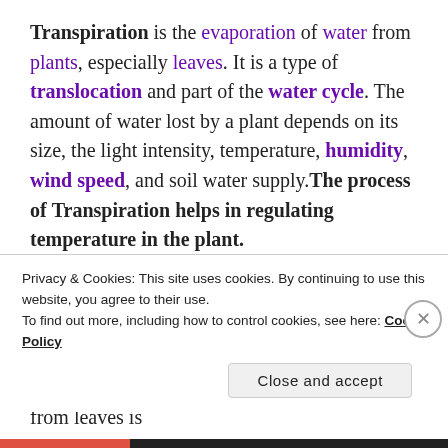Transpiration is the evaporation of water from plants, especially leaves. It is a type of translocation and part of the water cycle. The amount of water lost by a plant depends on its size, the light intensity, temperature, humidity, wind speed, and soil water supply.The process of Transpiration helps in regulating temperature in the plant.

Transpiration was first worked out by Stephen Hales (17 September 1677 – 4 January 1761), an English clergyman. He proved what is still believed, that the evaporation of water molecules from leaves is
Privacy & Cookies: This site uses cookies. By continuing to use this website, you agree to their use.
To find out more, including how to control cookies, see here: Cookie Policy